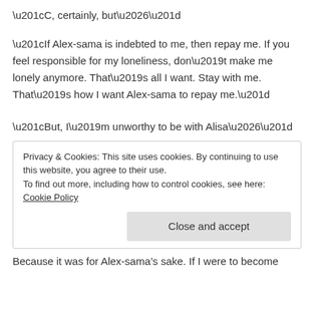“C, certainly, but…”
“If Alex-sama is indebted to me, then repay me. If you feel responsible for my loneliness, don’t make me lonely anymore. That’s all I want. Stay with me. That’s how I want Alex-sama to repay me.”
“But, I’m unworthy to be with Alisa…”
Privacy & Cookies: This site uses cookies. By continuing to use this website, you agree to their use.
To find out more, including how to control cookies, see here: Cookie Policy
Close and accept
Because it was for Alex-sama’s sake. If I were to become